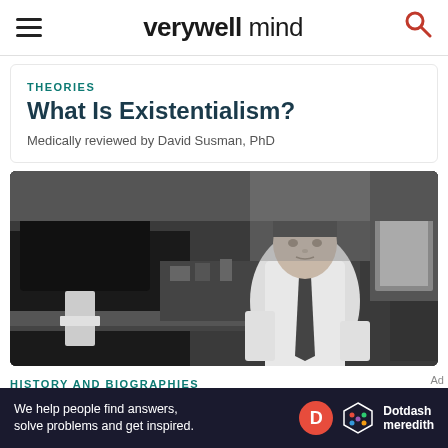verywell mind
THEORIES
What Is Existentialism?
Medically reviewed by David Susman, PhD
[Figure (photo): Black and white historical photograph of a man in a white shirt and tie sitting at a desk with equipment around him]
HISTORY AND BIOGRAPHIES
10 Most Influential Psychologists
We help people find answers, solve problems and get inspired.
Dotdash meredith